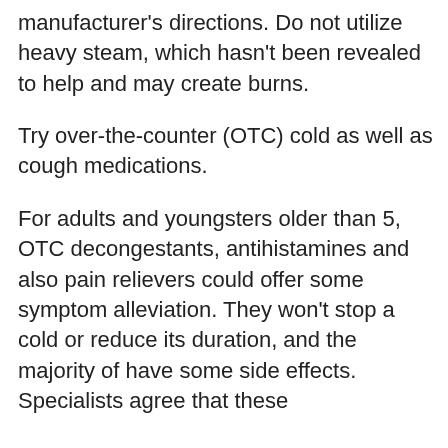manufacturer's directions. Do not utilize heavy steam, which hasn't been revealed to help and may create burns.
Try over-the-counter (OTC) cold as well as cough medications.
For adults and youngsters older than 5, OTC decongestants, antihistamines and also pain relievers could offer some symptom alleviation. They won't stop a cold or reduce its duration, and the majority of have some side effects. Specialists agree that these